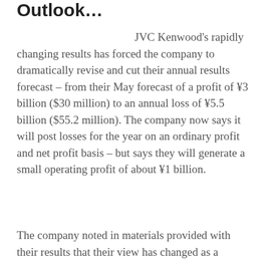Outlook…
JVC Kenwood's rapidly changing results has forced the company to dramatically revise and cut their annual results forecast – from their May forecast of a profit of ¥3 billion ($30 million) to an annual loss of  ¥5.5 billion ($55.2 million). The company now says it will post losses for the year on an ordinary profit and net profit basis – but says they will generate a small operating profit of about ¥1 billion.
The company noted in materials provided with their results that their view has changed as a